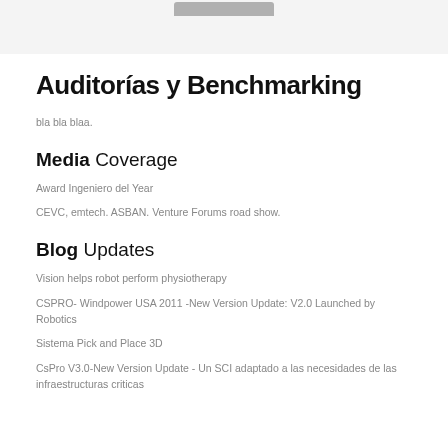Auditorías y Benchmarking
bla bla blaa.
Media Coverage
Award Ingeniero del Year
CEVC, emtech. ASBAN. Venture Forums road show.
Blog Updates
Vision helps robot perform physiotherapy
CSPRO- Windpower USA 2011 -New Version Update: V2.0 Launched by Robotics
Sistema Pick and Place 3D
CsPro V3.0-New Version Update - Un SCI adaptado a las necesidades de las infraestructuras criticas